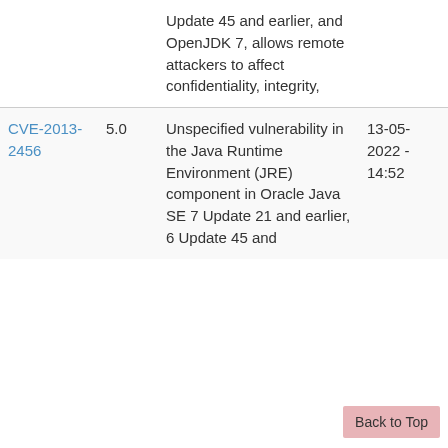| CVE | Score | Description | Date 1 | Date 2 |
| --- | --- | --- | --- | --- |
|  |  | Update 45 and earlier, and OpenJDK 7, allows remote attackers to affect confidentiality, integrity, |  |  |
| CVE-2013-2456 | 5.0 | Unspecified vulnerability in the Java Runtime Environment (JRE) component in Oracle Java SE 7 Update 21 and earlier, 6 Update 45 and | 13-05-2022 - 14:52 | 18-06-2013 - 22:55 |